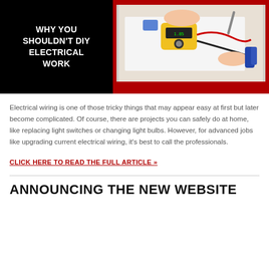[Figure (photo): Banner image split into two sections: left black background with bold white text reading 'WHY YOU SHOULDN'T DIY ELECTRICAL WORK', right red-bordered section with a photo of hands using a multimeter on electrical wiring with tools visible]
Electrical wiring is one of those tricky things that may appear easy at first but later become complicated. Of course, there are projects you can safely do at home, like replacing light switches or changing light bulbs. However, for advanced jobs like upgrading current electrical wiring, it's best to call the professionals.
CLICK HERE TO READ THE FULL ARTICLE »
ANNOUNCING THE NEW WEBSITE